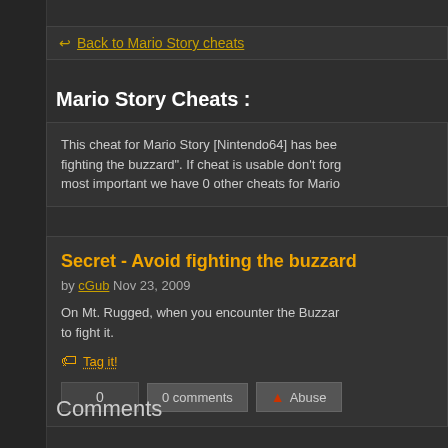Back to Mario Story cheats
Mario Story Cheats :
This cheat for Mario Story [Nintendo64] has been fighting the buzzard". If cheat is usable don't forg most important we have 0 other cheats for Mario
Secret - Avoid fighting the buzzard
by cGub Nov 23, 2009
On Mt. Rugged, when you encounter the Buzzar to fight it.
Tag it!
0   0 comments   Abuse
Comments